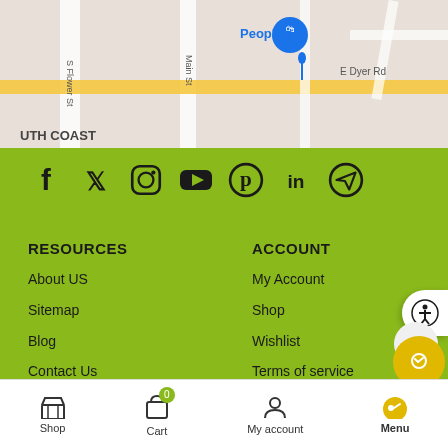[Figure (map): Google Maps screenshot showing People's store location near E Dyer Rd and Main St in South Coast area]
[Figure (infographic): Social media icons row: Facebook, Twitter, Instagram, YouTube, Pinterest, LinkedIn, Telegram on green background]
RESOURCES
About US
Sitemap
Blog
Contact Us
ACCOUNT
My Account
Shop
Wishlist
Terms of service
privacy policy
Shop  Cart  My account  Menu